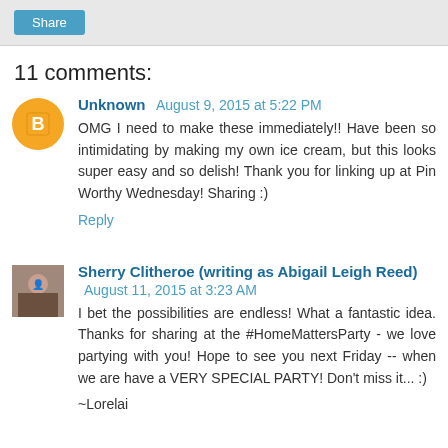Share
11 comments:
Unknown  August 9, 2015 at 5:22 PM
OMG I need to make these immediately!! Have been so intimidating by making my own ice cream, but this looks super easy and so delish! Thank you for linking up at Pin Worthy Wednesday! Sharing :)
Reply
Sherry Clitheroe (writing as Abigail Leigh Reed)  August 11, 2015 at 3:23 AM
I bet the possibilities are endless! What a fantastic idea. Thanks for sharing at the #HomeMattersParty - we love partying with you! Hope to see you next Friday -- when we are have a VERY SPECIAL PARTY! Don't miss it... :)
~Lorelai